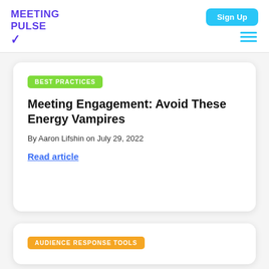MEETING PULSE
BEST PRACTICES
Meeting Engagement: Avoid These Energy Vampires
By Aaron Lifshin on July 29, 2022
Read article
AUDIENCE RESPONSE TOOLS